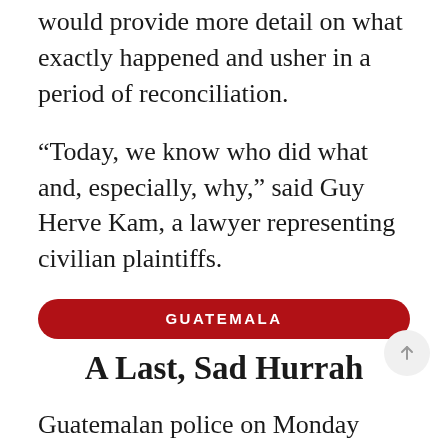would provide more detail on what exactly happened and usher in a period of reconciliation.
“Today, we know who did what and, especially, why,” said Guy Herve Kam, a lawyer representing civilian plaintiffs.
GUATEMALA
A Last, Sad Hurrah
Guatemalan police on Monday arrested former first lady and three-time presidential candidate Sandra